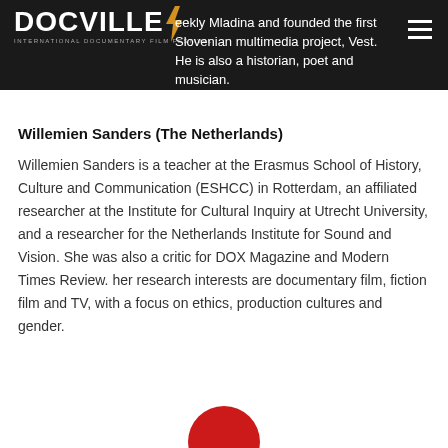DOCVILLE INTERNATIONAL DOCUMENTARY FILM FESTIVAL — weekly Mladina and founded the first Slovenian multimedia project, Vest. He is also a historian, poet and musician.
Willemien Sanders (The Netherlands)
Willemien Sanders is a teacher at the Erasmus School of History, Culture and Communication (ESHCC) in Rotterdam, an affiliated researcher at the Institute for Cultural Inquiry at Utrecht University, and a researcher for the Netherlands Institute for Sound and Vision. She was also a critic for DOX Magazine and Modern Times Review. her research interests are documentary film, fiction film and TV, with a focus on ethics, production cultures and gender.